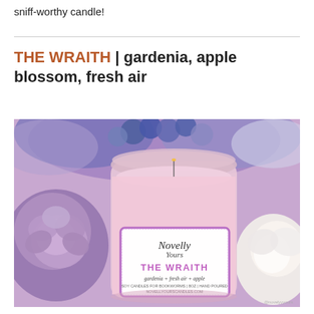sniff-worthy candle!
THE WRAITH | gardenia, apple blossom, fresh air
[Figure (photo): A pink candle in a glass jar with a white label reading 'Novelly Yours – THE WRAITH – gardenia + fresh air + apple – Soy Candles for Bookworms | 8oz | Hand Poured – novellyourscandles.com', surrounded by purple roses and blue/purple hydrangeas in the background.]